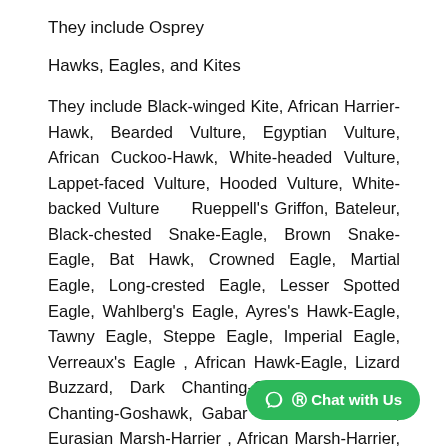They include Osprey
Hawks, Eagles, and Kites
They include Black-winged Kite, African Harrier-Hawk, Bearded Vulture, Egyptian Vulture, African Cuckoo-Hawk, White-headed Vulture, Lappet-faced Vulture, Hooded Vulture, White-backed Vulture Rueppell’s Griffon, Bateleur, Black-chested Snake-Eagle, Brown Snake-Eagle, Bat Hawk, Crowned Eagle, Martial Eagle, Long-crested Eagle, Lesser Spotted Eagle, Wahlberg’s Eagle, Ayres’s Hawk-Eagle, Tawny Eagle, Steppe Eagle, Imperial Eagle, Verreaux’s Eagle , African Hawk-Eagle, Lizard Buzzard, Dark Chanting-Goshawk, Eastern Chanting-Goshawk, Gabar Goshawk , Eurasian Marsh-Harrier , African Marsh-Harrier, Pallid Harrier, Montagu’s Harri… Little Sparrow hawk, Ovambo Sparrow hawk, Black